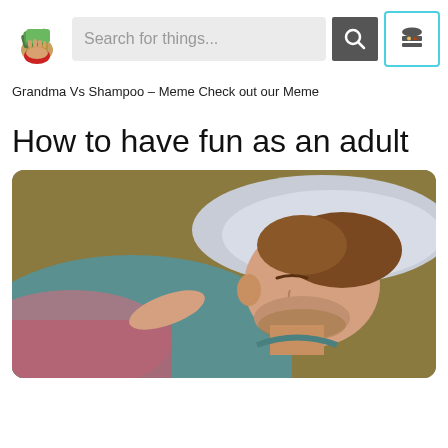Search for things...
Grandma Vs Shampoo – Meme Check out our Meme
How to have fun as an adult
[Figure (illustration): Cartoon-style illustration of a young man lying in bed on a pillow, eyes closed, appearing relaxed or sleeping, wearing a teal shirt, with a warm olive/brown background.]